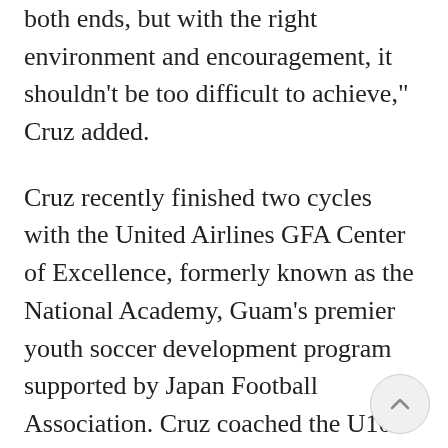but it does require commitment on both ends, but with the right environment and encouragement, it shouldn’t be too difficult to achieve,” Cruz added.
Cruz recently finished two cycles with the United Airlines GFA Center of Excellence, formerly known as the National Academy, Guam’s premier youth soccer development program supported by Japan Football Association. Cruz coached the U10 Boys Division and next, coached the U12 Boys Divisions in the Spring 2018 cycle. Cruz hopes to apply coaching methods he will learn at upcoming courses when the Center of Excellence begins its Fall